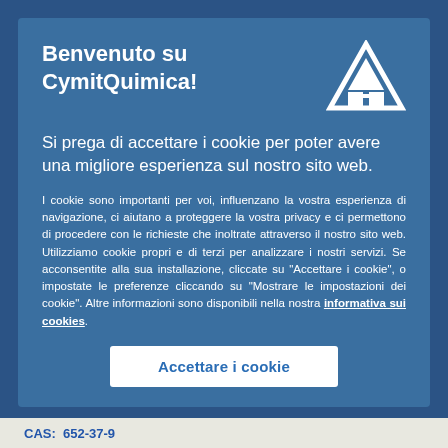Benvenuto su CymitQuimica!
Si prega di accettare i cookie per poter avere una migliore esperienza sul nostro sito web.
I cookie sono importanti per voi, influenzano la vostra esperienza di navigazione, ci aiutano a proteggere la vostra privacy e ci permettono di procedere con le richieste che inoltrate attraverso il nostro sito web. Utilizziamo cookie propri e di terzi per analizzare i nostri servizi. Se acconsentite alla sua installazione, cliccate su "Accettare i cookie", o impostate le preferenze cliccando su "Mostrare le impostazioni dei cookie". Altre informazioni sono disponibili nella nostra informativa sui cookies.
Accettare i cookie
CAS: 652-37-9